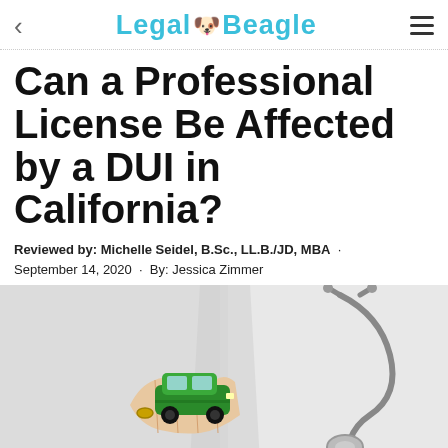Legal Beagle
Can a Professional License Be Affected by a DUI in California?
Reviewed by: Michelle Seidel, B.Sc., LL.B./JD, MBA · September 14, 2020 · By: Jessica Zimmer
[Figure (photo): A person in a white doctor's coat holding a small green toy car, with a stethoscope visible in the background.]